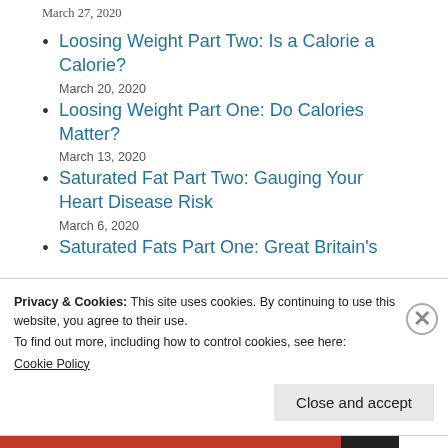March 27, 2020
Loosing Weight Part Two: Is a Calorie a Calorie?
March 20, 2020
Loosing Weight Part One: Do Calories Matter?
March 13, 2020
Saturated Fat Part Two: Gauging Your Heart Disease Risk
March 6, 2020
Saturated Fats Part One: Great Britain's
Privacy & Cookies: This site uses cookies. By continuing to use this website, you agree to their use.
To find out more, including how to control cookies, see here:
Cookie Policy
Close and accept